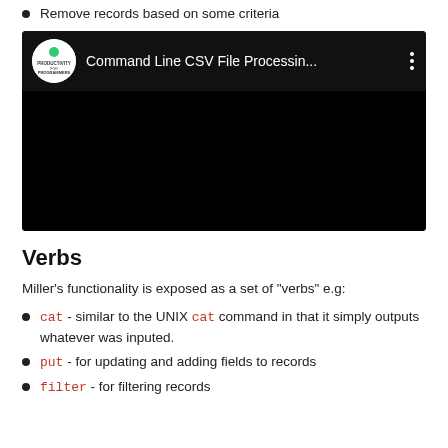Remove records based on some criteria
[Figure (screenshot): YouTube-style video embed showing 'Command Line CSV File Processin...' with a channel logo (Productivity for Programmers) and three-dot menu icon, black video area.]
Verbs
Miller's functionality is exposed as a set of "verbs" e.g:
cat - similar to the UNIX cat command in that it simply outputs whatever was inputed.
put - for updating and adding fields to records
filter - for filtering records